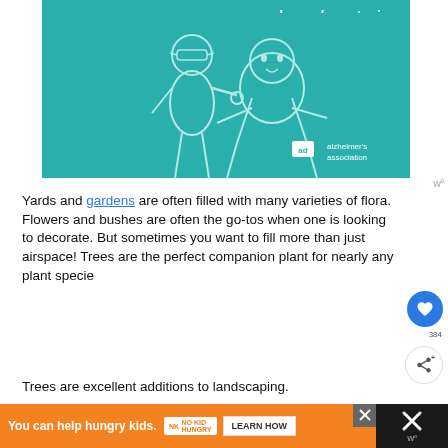[Figure (illustration): Alzheimer's Association advertisement banner with teal background showing two illustrated people (an older man with glasses and a younger person). Text reads 'alz.org/ourstories' with the Alzheimer's Association logo at bottom right.]
Yards and gardens are often filled with many varieties of flora. Flowers and bushes are often the go-tos when one is looking to decorate. But sometimes you want to fill more than just airspace! Trees are the perfect companion plant for nearly any plant specie
Trees are excellent additions to landscaping.
[Figure (illustration): Bottom advertisement banner with orange background. Text: 'You can help hungry kids.' with No Kid Hungry logo and 'LEARN HOW' button.]